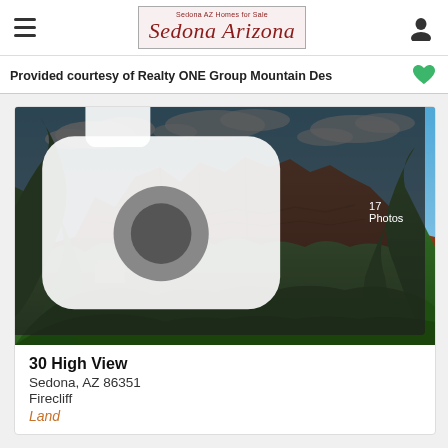Sedona Arizona — Sedona AZ Homes for Sale
Provided courtesy of Realty ONE Group Mountain Des
[Figure (photo): Photograph of red rock formations in Sedona, Arizona, surrounded by lush green trees under a blue sky with clouds. A building is partially visible at the lower left. Photo counter showing 17 Photos is visible at bottom right.]
30 High View
Sedona, AZ 86351
Firecliff
Land